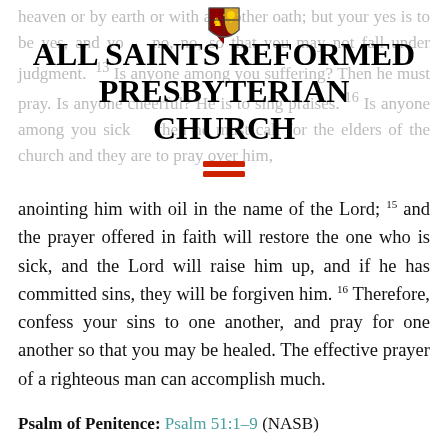heaven or by earth or with any other oath; but your yes is to be yes, and your no, no, so that you may not fall under judgment. Is anyone among you suffering? Then he must pray. Is anyone cheerful? He is to sing praises. Is anyone among you sick? Then he must call for the elders of the church and they are to pray over him,
[Figure (logo): Church crest/coat of arms logo with red and gold colors]
ALL SAINTS REFORMED PRESBYTERIAN CHURCH
[Figure (other): Red double horizontal line divider icon]
anointing him with oil in the name of the Lord; 15 and the prayer offered in faith will restore the one who is sick, and the Lord will raise him up, and if he has committed sins, they will be forgiven him. 16 Therefore, confess your sins to one another, and pray for one another so that you may be healed. The effective prayer of a righteous man can accomplish much.
Psalm of Penitence: Psalm 51:1-9 (NASB)